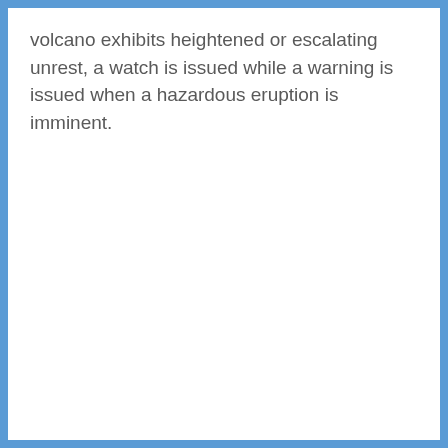volcano exhibits heightened or escalating unrest, a watch is issued while a warning is issued when a hazardous eruption is imminent.